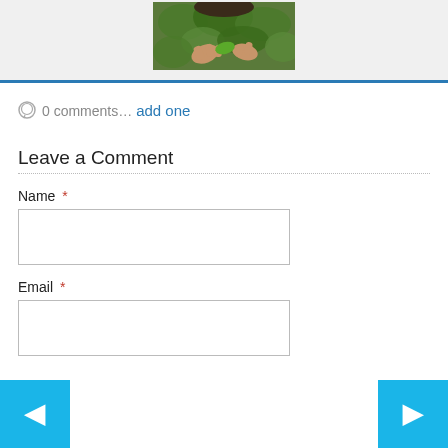[Figure (photo): A person's hands holding or picking green plant leaves, partial view of person with dark hair]
0 comments… add one
Leave a Comment
Name *
Email *